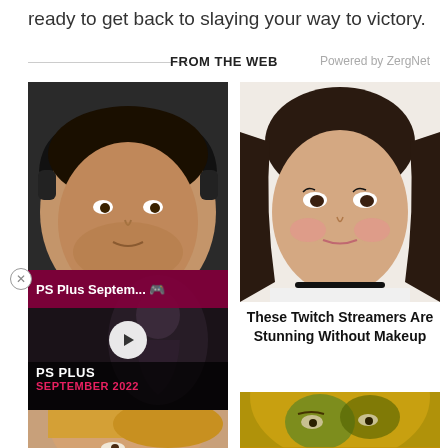ready to get back to slaying your way to victory.
FROM THE WEB
Powered by ZergNet
[Figure (photo): Close-up photo of a young man with headphones, dark hair, smiling slightly — appears to be a game streamer]
[Figure (screenshot): Video thumbnail overlay showing PS Plus September 2022 with play button, dark background character art. Top bar: PS Plus Septem... with icon. Bottom bar: PS PLUS SEPTEMBER 2022]
[Figure (photo): Partial photo of a woman with long blonde hair, close-up face, bottom of frame]
[Figure (photo): Close-up photo of a young woman with dark hair, dramatic eye makeup, wearing a choker necklace]
These Twitch Streamers Are Stunning Without Makeup
[Figure (photo): Partial photo of a person with heavy green and yellow face paint / makeup, older male]